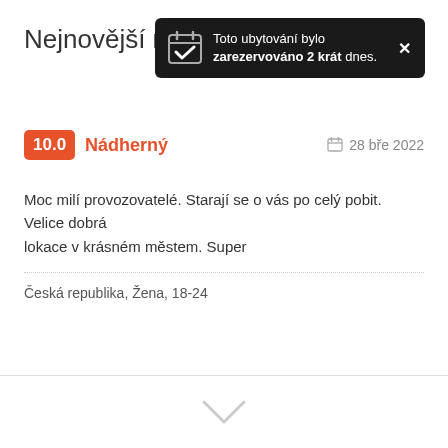Nejnovější rec
[Figure (infographic): Dark notification toast showing: 'Toto ubytování bylo zarezervováno 2 krát dnes.' with calendar/checkmark icon and close X button]
10.0  Nádherný    28 bře 2022
Moc milí provozovatelé. Starají se o vás po celý pobit. Velice dobrá lokace v krásném městem. Super
Česká republika, Žena, 18-24
Číst všechny recenze